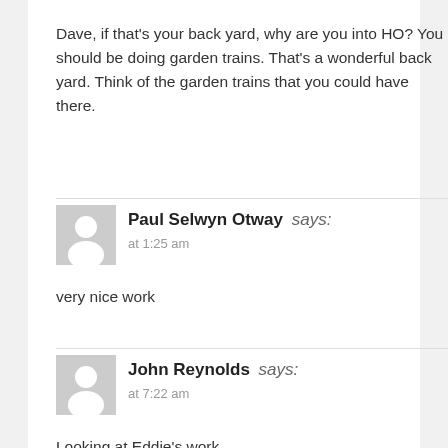Dave, if that's your back yard, why are you into HO? You should be doing garden trains. That's a wonderful back yard. Think of the garden trains that you could have there.
Paul Selwyn Otway says: at 1:25 am
very nice work
John Reynolds says: at 7:22 am
Looking at Eddie's work...